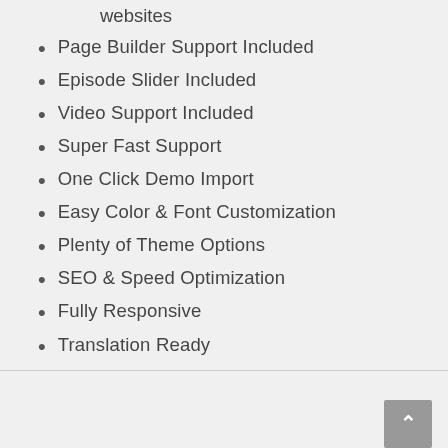websites
Page Builder Support Included
Episode Slider Included
Video Support Included
Super Fast Support
One Click Demo Import
Easy Color & Font Customization
Plenty of Theme Options
SEO & Speed Optimization
Fully Responsive
Translation Ready
RTL Orientation Support